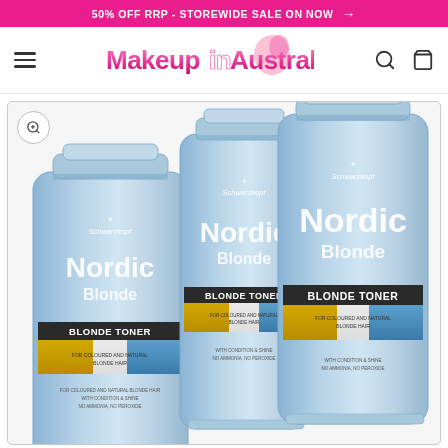50% OFF RRP - STOREWIDE SALE ON NOW →
[Figure (logo): Makeup in Australia website logo with pink gradient text and flower graphic]
[Figure (photo): Three Schwarzkopf Nordic Blonde Blonde Toner product tubes in light blue color, arranged overlapping each other, showing front labels with 'Nordic Blonde' branding and 'BLONDE TONER' label strip]